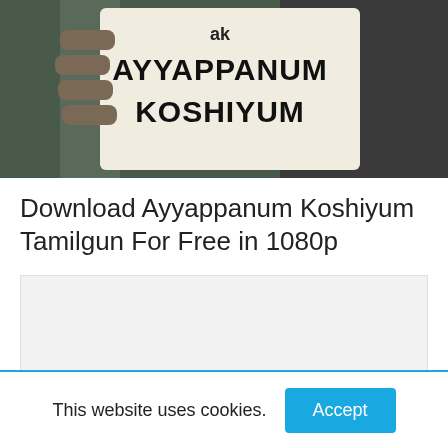[Figure (photo): Movie poster image showing a person holding a sign that reads 'ak AYYAPPANUM KOSHIYUM' in bold black text on a white background, with a person wearing a dark shirt visible behind it.]
Download Ayyappanum Koshiyum Tamilgun For Free in 1080p
[Figure (other): Advertisement placeholder block with light gray background.]
This website uses cookies.